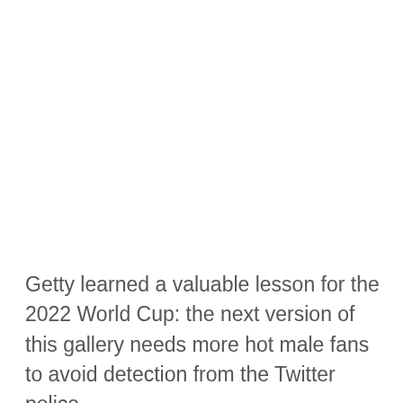Getty learned a valuable lesson for the 2022 World Cup: the next version of this gallery needs more hot male fans to avoid detection from the Twitter police.